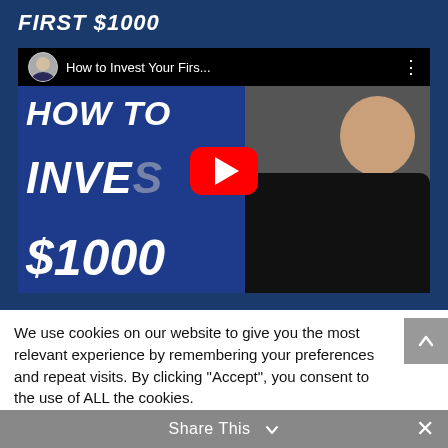FIRST $1000
[Figure (screenshot): YouTube video thumbnail showing 'How to Invest Your Firs...' with a man on the right side and text 'HOW TO INVEST $1000' on the left. A red YouTube play button is overlaid in the center.]
We use cookies on our website to give you the most relevant experience by remembering your preferences and repeat visits. By clicking “Accept”, you consent to the use of ALL the cookies.
Do not sell my personal information.
Cookie Settings
Accept
Share This
×